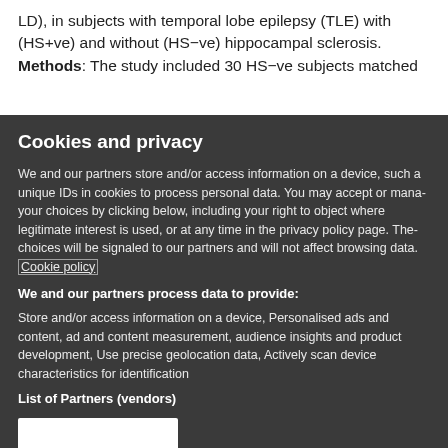LD), in subjects with temporal lobe epilepsy (TLE) with (HS+ve) and without (HS−ve) hippocampal sclerosis.
Methods: The study included 30 HS−ve subjects matched to 30 HS+ve subjects from an ongoing longitudinal study.
Cookies and privacy
We and our partners store and/or access information on a device, such as unique IDs in cookies to process personal data. You may accept or manage your choices by clicking below, including your right to object where legitimate interest is used, or at any time in the privacy policy page. These choices will be signaled to our partners and will not affect browsing data. Cookie policy
We and our partners process data to provide:
Store and/or access information on a device, Personalised ads and content, ad and content measurement, audience insights and product development, Use precise geolocation data, Actively scan device characteristics for identification
List of Partners (vendors)